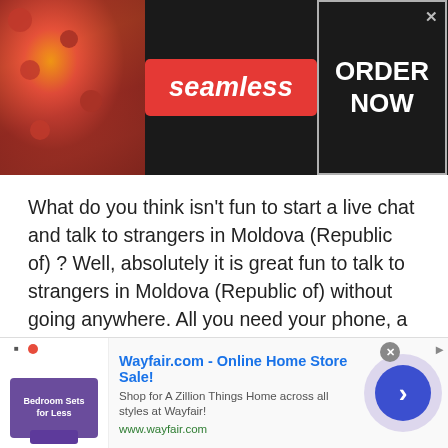[Figure (screenshot): Seamless food delivery advertisement banner with pizza image on left, red Seamless logo in center, and 'ORDER NOW' bordered box on right, on dark background]
What do you think isn't fun to start a live chat and talk to strangers in Moldova (Republic of) ? Well, absolutely it is great fun to talk to strangers in Moldova (Republic of) without going anywhere. All you need your phone, a good internet connection and of course your nickname to talk to strangers online.
Love chat
[Figure (screenshot): Wayfair.com online advertisement banner with bedroom furniture thumbnail, title 'Wayfair.com - Online Home Store Sale!', description text, URL www.wayfair.com, and a blue circular arrow button on right]